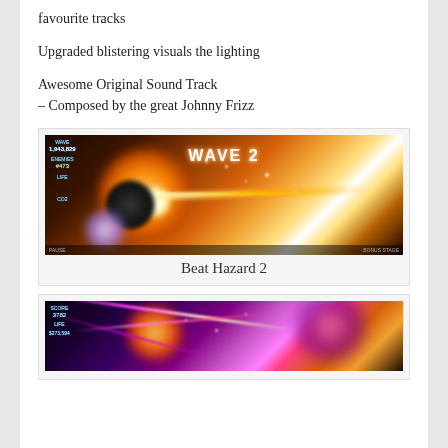favourite tracks
Upgraded blistering visuals the lighting
Awesome Original Sound Track
– Composed by the great Johnny Frizz
[Figure (screenshot): Screenshot of Beat Hazard 2 game showing a space shooter scene with a large glowing orange sun/explosion in the center, a spaceship silhouette, projectiles and particle effects, with HUD elements visible]
Beat Hazard 2
[Figure (screenshot): Second screenshot of Beat Hazard 2 game showing pink/purple particle effects and explosions with enemy ships and HUD elements]